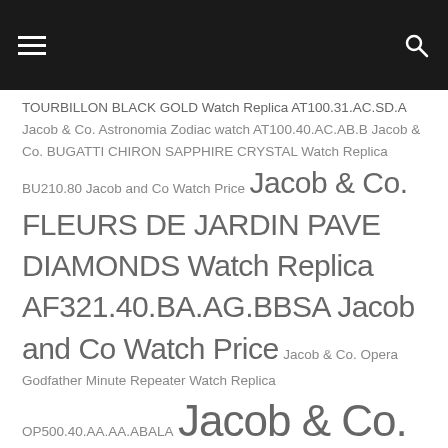[Navigation header with hamburger menu and search icon]
TOURBILLON BLACK GOLD Watch Replica AT100.31.AC.SD.A Jacob & Co. Astronomia Zodiac watch AT100.40.AC.AB.B Jacob & Co. BUGATTI CHIRON SAPPHIRE CRYSTAL Watch Replica BU210.80 Jacob and Co Watch Price Jacob & Co. FLEURS DE JARDIN PAVE DIAMONDS Watch Replica AF321.40.BA.AG.BBSA Jacob and Co Watch Price Jacob & Co. Opera Godfather Minute Repeater Watch Replica OP500.40.AA.AA.ABALA Jacob & Co. OPERA GODFATHER MUSICAL WATCH BLACK DLC GRADE 5 TITANIUM WITH DIAMOND BARRELS Watch Replica OP110.21.AG.UB.ABALA Jacob and Co Watch Price Jacob &